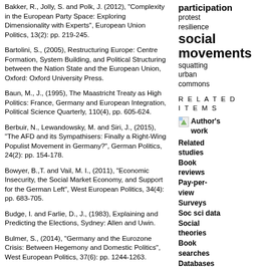Bakker, R., Jolly, S. and Polk, J. (2012), "Complexity in the European Party Space: Exploring Dimensionality with Experts", European Union Politics, 13(2): pp. 219-245.
Bartolini, S., (2005), Restructuring Europe: Centre Formation, System Building, and Political Structuring between the Nation State and the European Union, Oxford: Oxford University Press.
Baun, M., J., (1995), The Maastricht Treaty as High Politics: France, Germany and European Integration, Political Science Quarterly, 110(4), pp. 605-624.
Berbuir, N., Lewandowsky, M. and Siri, J., (2015), "The AFD and its Sympathisers: Finally a Right-Wing Populist Movement in Germany?", German Politics, 24(2): pp. 154-178.
Bowyer, B.,T. and Vail, M. I., (2011), "Economic Insecurity, the Social Market Economy, and Support for the German Left", West European Politics, 34(4): pp. 683-705.
Budge, I. and Farlie, D., J., (1983), Explaining and Predicting the Elections, Sydney: Allen and Uwin.
Bulmer, S., (2014), "Germany and the Eurozone Crisis: Between Hegemony and Domestic Politics", West European Politics, 37(6): pp. 1244-1263.
Bulmer, S. and Paterson, W., E., (2013), "Germany as the EU's Reluctant Hegemon? Of Economic Strength and Political Constraints", Journal of European Public Policy, 20(10): pp. 1387-1405.
Conti, N., (eds. 2014) Party Attitudes Towards the EU in the Member States, Oxon and New York: Routledge.
participation protest resilience social movements squatting urban commons
RELATED ITEMS
Author's work
Related studies
Book reviews
Pay-per-view
Surveys
Soc sci data
Social theories
Book searches
Databases
Relevant portals
Online forums
Legal materials